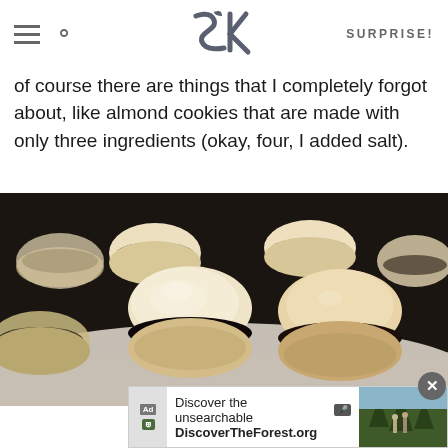SK SURPRISE!
of course there are things that I completely forgot about, like almond cookies that are made with only three ingredients (okay, four, I added salt).
[Figure (photo): Close-up photograph of small round almond sandwich cookies with dark chocolate filling, arranged on a white plate]
[Figure (screenshot): Advertisement banner: Discover the unsearchable - DiscoverTheForest.org with forest photo and people hiking]